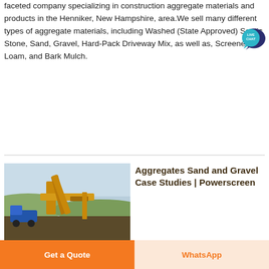faceted company specializing in construction aggregate materials and products in the Henniker, New Hampshire, area.We sell many different types of aggregate materials, including Washed (State Approved) Septic Stone, Sand, Gravel, Hard-Pack Driveway Mix, as well as, Screened Loam, and Bark Mulch.
[Figure (infographic): Live Chat speech bubble icon in dark blue and teal]
[Figure (other): Dark red Get Price button]
[Figure (photo): Photo of construction aggregate processing machinery/equipment outdoors with blue sky]
Aggregates Sand and Gravel Case Studies | Powerscreen
[Figure (other): Orange Get a Quote button and WhatsApp button at bottom of page]